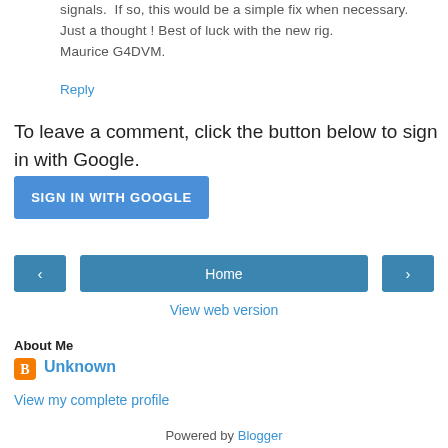signals. If so, this would be a simple fix when necessary. Just a thought ! Best of luck with the new rig. Maurice G4DVM.
Reply
To leave a comment, click the button below to sign in with Google.
SIGN IN WITH GOOGLE
[Figure (other): Navigation row with back arrow button, Home button, and forward arrow button]
View web version
About Me
Unknown
View my complete profile
Powered by Blogger